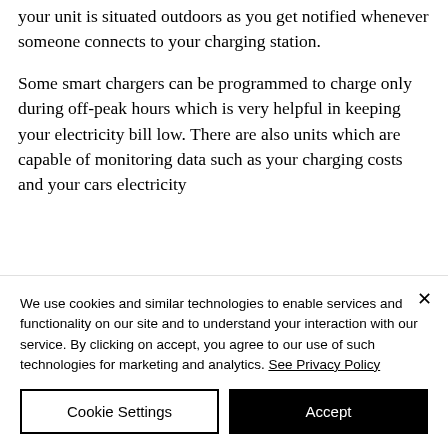your unit is situated outdoors as you get notified whenever someone connects to your charging station.
Some smart chargers can be programmed to charge only during off-peak hours which is very helpful in keeping your electricity bill low. There are also units which are capable of monitoring data such as your charging costs and your cars electricity
We use cookies and similar technologies to enable services and functionality on our site and to understand your interaction with our service. By clicking on accept, you agree to our use of such technologies for marketing and analytics. See Privacy Policy
Cookie Settings
Accept